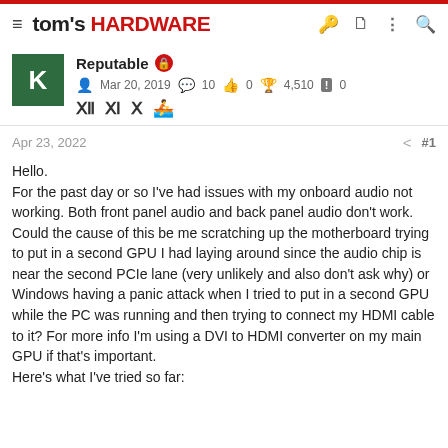tom's HARDWARE
Reputable
Mar 20, 2019   10   0   4,510   0
Apr 23, 2022   #1
Hello.
For the past day or so I've had issues with my onboard audio not working. Both front panel audio and back panel audio don't work. Could the cause of this be me scratching up the motherboard trying to put in a second GPU I had laying around since the audio chip is near the second PCIe lane (very unlikely and also don't ask why) or Windows having a panic attack when I tried to put in a second GPU while the PC was running and then trying to connect my HDMI cable to it? For more info I'm using a DVI to HDMI converter on my main GPU if that's important.
Here's what I've tried so far: